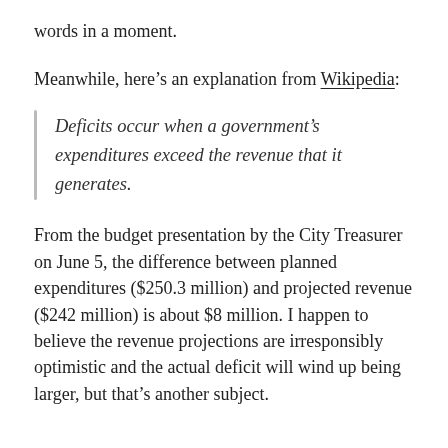words in a moment.
Meanwhile, here’s an explanation from Wikipedia:
Deficits occur when a government’s expenditures exceed the revenue that it generates.
From the budget presentation by the City Treasurer on June 5, the difference between planned expenditures ($250.3 million) and projected revenue ($242 million) is about $8 million. I happen to believe the revenue projections are irresponsibly optimistic and the actual deficit will wind up being larger, but that’s another subject.